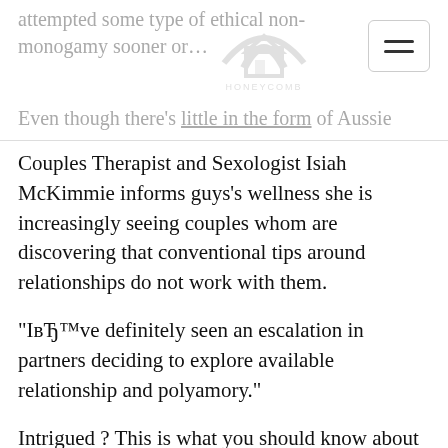attempted some type of ethical non-monogamy sooner or…
Even though there's little in the form of Aussie stats,
Couples Therapist and Sexologist Isiah McKimmie informs guys's wellness she is increasingly seeing couples whom are discovering that conventional tips around relationships do not work with them.
“IвЂ™ve definitely seen an escalation in partners deciding to explore available relationship and polyamory.”
Intrigued ? This is what you should know about polyamorous relationships.
“Polyamory literally means вЂ many lovesвЂ™ so in polyamory people have significantly more than one intimate partner at a time,” McKimmie claims. Polyamory can be referred to as “consensual, ethical, and accountable non-monogamy.”